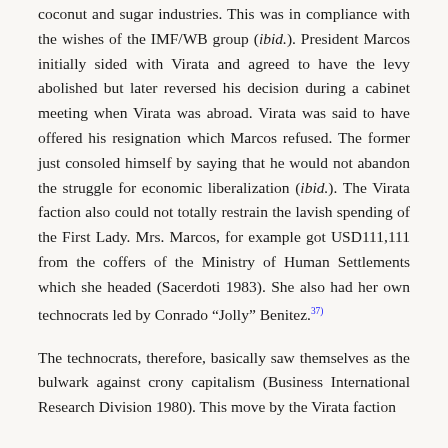coconut and sugar industries. This was in compliance with the wishes of the IMF/WB group (ibid.). President Marcos initially sided with Virata and agreed to have the levy abolished but later reversed his decision during a cabinet meeting when Virata was abroad. Virata was said to have offered his resignation which Marcos refused. The former just consoled himself by saying that he would not abandon the struggle for economic liberalization (ibid.). The Virata faction also could not totally restrain the lavish spending of the First Lady. Mrs. Marcos, for example got USD111,111 from the coffers of the Ministry of Human Settlements which she headed (Sacerdoti 1983). She also had her own technocrats led by Conrado “Jolly” Benitez.[37)
The technocrats, therefore, basically saw themselves as the bulwark against crony capitalism (Business International Research Division 1980). This move by the Virata faction